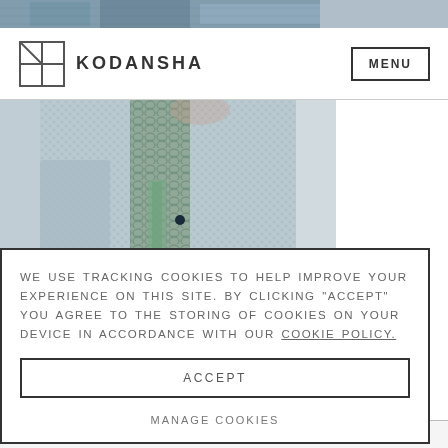[Figure (photo): Top strip of a fashion photo showing patterned fabric clothing]
KODANSHA
[Figure (photo): Close-up photo of a model wearing a textured knit and snake-print patterned coat in blue, grey and green tones]
WE USE TRACKING COOKIES TO HELP IMPROVE YOUR EXPERIENCE ON THIS SITE. BY CLICKING “ACCEPT” YOU AGREE TO THE STORING OF COOKIES ON YOUR DEVICE IN ACCORDANCE WITH OUR COOKIE POLICY.
ACCEPT
MANAGE COOKIES
WITH AKIKO HIGASHIMURA TO TALK ABOUT